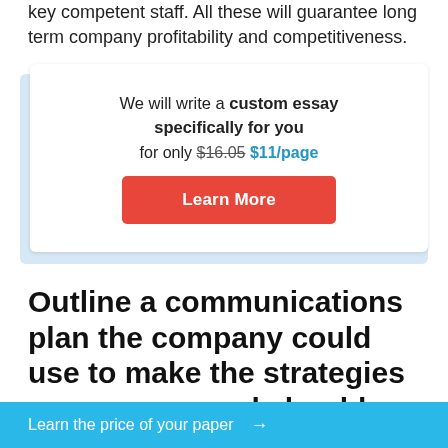key competent staff. All these will guarantee long term company profitability and competitiveness.
[Figure (infographic): Promotional ad box: 'We will write a custom essay specifically for you for only $16.05 $11/page' with a red 'Learn More' button on a white card with blue shadow]
Outline a communications plan the company could use to make the strategies you recommend should known to all stakeholders
Learn the price of your paper →